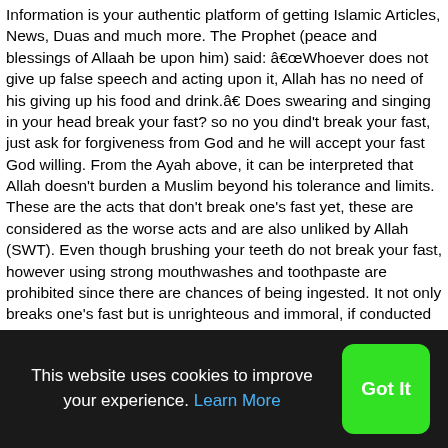Information is your authentic platform of getting Islamic Articles, News, Duas and much more. The Prophet (peace and blessings of Allaah be upon him) said: â€œWhoever does not give up false speech and acting upon it, Allah has no need of his giving up his food and drink.â€ Does swearing and singing in your head break your fast? so no you dind't break your fast, just ask for forgiveness from God and he will accept your fast God willing. From the Ayah above, it can be interpreted that Allah doesn't burden a Muslim beyond his tolerance and limits. These are the acts that don't break one's fast yet, these are considered as the worse acts and are also unliked by Allah (SWT). Even though brushing your teeth do not break your fast, however using strong mouthwashes and toothpaste are prohibited since there are chances of being ingested. It not only breaks one's fast but is unrighteous and immoral, if conducted deliberately during the day time in Ramadan. So
This website uses cookies to improve your experience. Learn More